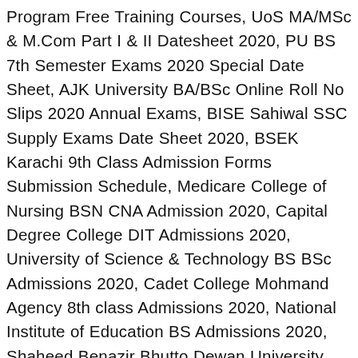Program Free Training Courses, UoS MA/MSc & M.Com Part I & II Datesheet 2020, PU BS 7th Semester Exams 2020 Special Date Sheet, AJK University BA/BSc Online Roll No Slips 2020 Annual Exams, BISE Sahiwal SSC Supply Exams Date Sheet 2020, BSEK Karachi 9th Class Admission Forms Submission Schedule, Medicare College of Nursing BSN CNA Admission 2020, Capital Degree College DIT Admissions 2020, University of Science & Technology BS BSc Admissions 2020, Cadet College Mohmand Agency 8th class Admissions 2020, National Institute of Education BS Admissions 2020, Shaheed Benazir Bhutto Dewan University Courses Admission, Khyber Pakhtunkhwa Public Service Commission. ... UHS 1st MBBS/BDS Merit List of Private Colleges 2019 UHS 2nd MBBS/BDS Merit List 2019 ( Public Sector) (22nd November) ... PU Lahore Admissions 2019 Apply Online Here NUMS MDCAT Entry Test Result 2019 WHATEVER IS IN THE EARTH AND HEAVENS HAS BEEN SUBJECTED TO YOU." #mc_embed_signup{background:#fffc...